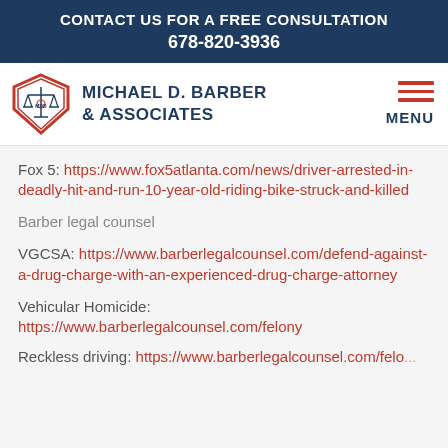CONTACT US FOR A FREE CONSULTATION
678-820-3936
[Figure (logo): Michael D. Barber & Associates law firm logo with scales of justice in red and blue shield]
Fox 5: https://www.fox5atlanta.com/news/driver-arrested-in-deadly-hit-and-run-10-year-old-riding-bike-struck-and-killed
Barber legal counsel
VGCSA: https://www.barberlegalcounsel.com/defend-against-a-drug-charge-with-an-experienced-drug-charge-attorney
Vehicular Homicide: https://www.barberlegalcounsel.com/felony
Reckless driving: https://www.barberlegalcounsel.com/felo...